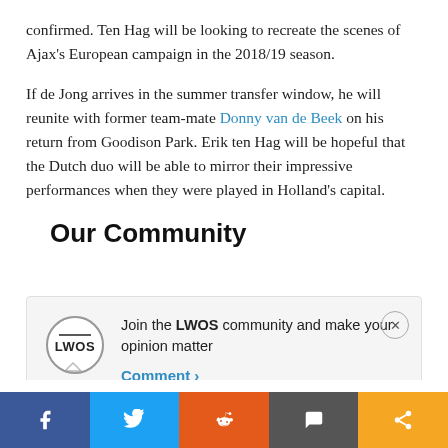confirmed. Ten Hag will be looking to recreate the scenes of Ajax's European campaign in the 2018/19 season.
If de Jong arrives in the summer transfer window, he will reunite with former team-mate Donny van de Beek on his return from Goodison Park. Erik ten Hag will be hopeful that the Dutch duo will be able to mirror their impressive performances when they were played in Holland’s capital.
Our Community
[Figure (logo): LWOS circular logo with speech bubble]
Join the LWOS community and make your opinion matter
Comment >